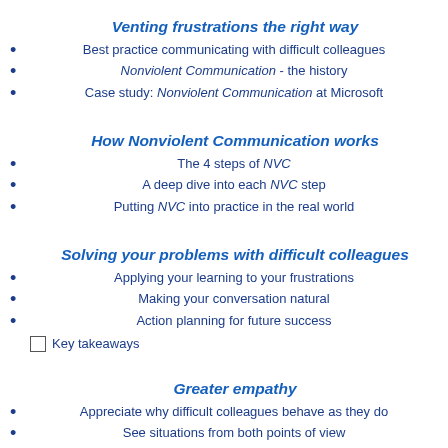Venting frustrations the right way
Best practice communicating with difficult colleagues
Nonviolent Communication - the history
Case study: Nonviolent Communication at Microsoft
How Nonviolent Communication works
The 4 steps of NVC
A deep dive into each NVC step
Putting NVC into practice in the real world
Solving your problems with difficult colleagues
Applying your learning to your frustrations
Making your conversation natural
Action planning for future success
Key takeaways
Greater empathy
Appreciate why difficult colleagues behave as they do
See situations from both points of view